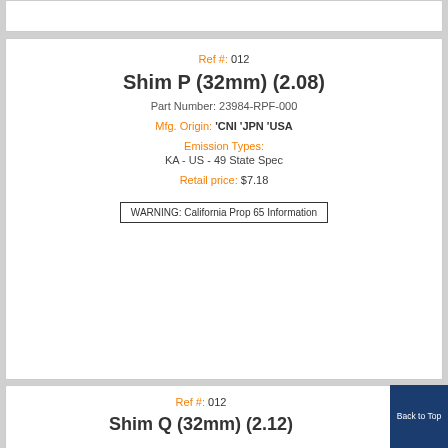Ref #: 012
Shim P (32mm) (2.08)
Part Number: 23984-RPF-000
Mfg. Origin: 'CNI 'JPN 'USA
Emission Types: KA - US - 49 State Spec
Retail price: $7.18
WARNING: California Prop 65 Information
Ref #: 012
Shim Q (32mm) (2.12)